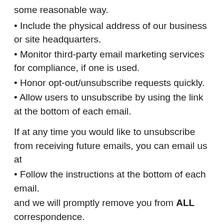some reasonable way.
Include the physical address of our business or site headquarters.
Monitor third-party email marketing services for compliance, if one is used.
Honor opt-out/unsubscribe requests quickly.
Allow users to unsubscribe by using the link at the bottom of each email.
If at any time you would like to unsubscribe from receiving future emails, you can email us at
Follow the instructions at the bottom of each email.
and we will promptly remove you from ALL correspondence.